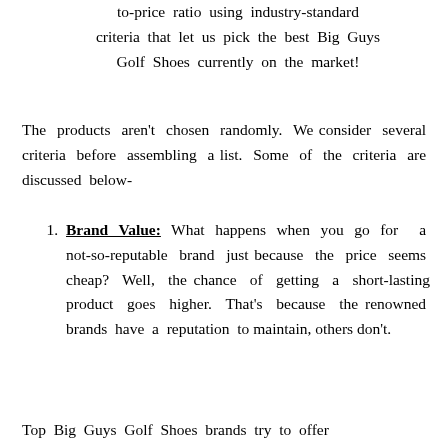to-price ratio using industry-standard criteria that let us pick the best Big Guys Golf Shoes currently on the market!
The products aren't chosen randomly. We consider several criteria before assembling a list. Some of the criteria are discussed below-
Brand Value: What happens when you go for a not-so-reputable brand just because the price seems cheap? Well, the chance of getting a short-lasting product goes higher. That's because the renowned brands have a reputation to maintain, others don't.
Top Big Guys Golf Shoes brands try to offer